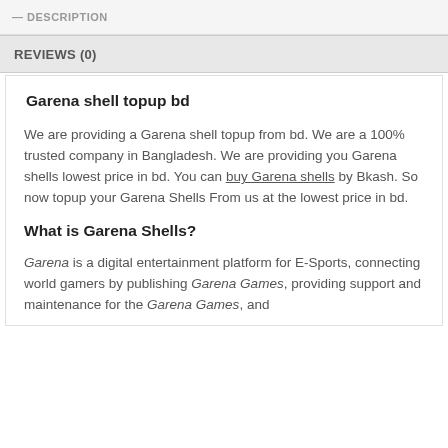DESCRIPTION
REVIEWS (0)
Garena shell topup bd
We are providing a Garena shell topup from bd. We are a 100% trusted company in Bangladesh. We are providing you Garena shells lowest price in bd. You can buy Garena shells by Bkash. So now topup your Garena Shells From us at the lowest price in bd.
What is Garena Shells?
Garena is a digital entertainment platform for E-Sports, connecting world gamers by publishing Garena Games, providing support and maintenance for the Garena Games, and